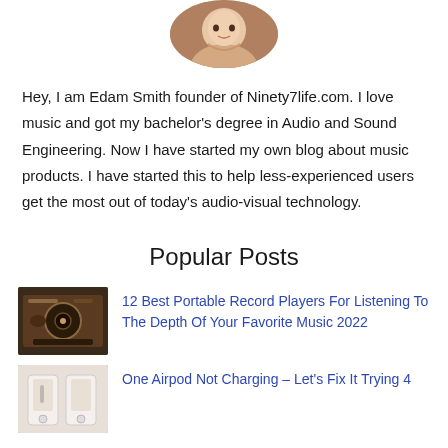[Figure (photo): Circular profile photo of a man (Edam Smith) smiling, cropped at top of page]
Hey, I am Edam Smith founder of Ninety7life.com. I love music and got my bachelor’s degree in Audio and Sound Engineering. Now I have started my own blog about music products. I have started this to help less-experienced users get the most out of today’s audio-visual technology.
Popular Posts
[Figure (photo): Thumbnail image of a vintage/portable record player on a wooden surface]
12 Best Portable Record Players For Listening To The Depth Of Your Favorite Music 2022
[Figure (photo): Thumbnail image related to AirPods charging]
One Airpod Not Charging – Let’s Fix It Trying 4